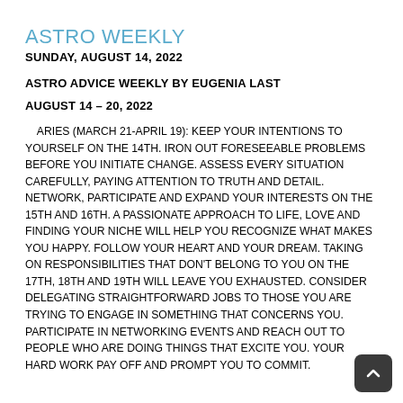ASTRO WEEKLY
SUNDAY, AUGUST 14, 2022
ASTRO ADVICE WEEKLY BY EUGENIA LAST
AUGUST 14 – 20, 2022
ARIES (MARCH 21-APRIL 19): KEEP YOUR INTENTIONS TO YOURSELF ON THE 14TH. IRON OUT FORESEEABLE PROBLEMS BEFORE YOU INITIATE CHANGE. ASSESS EVERY SITUATION CAREFULLY, PAYING ATTENTION TO TRUTH AND DETAIL. NETWORK, PARTICIPATE AND EXPAND YOUR INTERESTS ON THE 15TH AND 16TH. A PASSIONATE APPROACH TO LIFE, LOVE AND FINDING YOUR NICHE WILL HELP YOU RECOGNIZE WHAT MAKES YOU HAPPY. FOLLOW YOUR HEART AND YOUR DREAM. TAKING ON RESPONSIBILITIES THAT DON'T BELONG TO YOU ON THE 17TH, 18TH AND 19TH WILL LEAVE YOU EXHAUSTED. CONSIDER DELEGATING STRAIGHTFORWARD JOBS TO THOSE YOU ARE TRYING TO ENGAGE IN SOMETHING THAT CONCERNS YOU. PARTICIPATE IN NETWORKING EVENTS AND REACH OUT TO PEOPLE WHO ARE DOING THINGS THAT EXCITE YOU. YOUR HARD WORK WILL PAY OFF AND PROMPT YOU TO COMMIT.